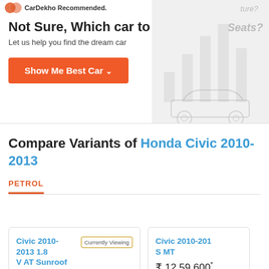CarDekho Recommended.
Not Sure, Which car to bu
Let us help you find the dream car
Show Me Best Car
[Figure (illustration): Gray background panel with faint bar chart and car silhouette illustration, with text labels 'Seats?' and 'ture?']
Compare Variants of Honda Civic 2010-2013
PETROL
| Variant | Badge | Price |
| --- | --- | --- |
| Civic 2010-2013 1.8 V AT Sunroof | Currently Viewing | ₹ 14,88,900* |
| Civic 2010-201 S MT |  | ₹ 12,59,600* |